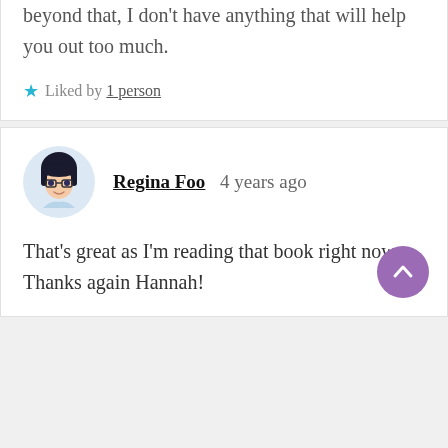beyond that, I don't have anything that will help you out too much.
★ Liked by 1 person
Regina Foo   4 years ago
That's great as I'm reading that book right now. Thanks again Hannah!